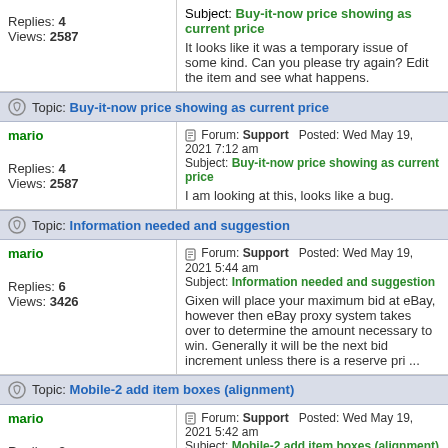Subject: Buy-it-now price showing as current price
It looks like it was a temporary issue of some kind. Can you please try again? Edit the item and see what happens.
Replies: 4
Views: 2587
Topic: Buy-it-now price showing as current price
mario
Replies: 4
Views: 2587
Forum: Support  Posted: Wed May 19, 2021 7:12 am
Subject: Buy-it-now price showing as current price
I am looking at this, looks like a bug.
Topic: Information needed and suggestion
mario
Replies: 6
Views: 3426
Forum: Support  Posted: Wed May 19, 2021 5:44 am
Subject: Information needed and suggestion
Gixen will place your maximum bid at eBay, however then eBay proxy system takes over to determine the amount necessary to win. Generally it will be the next bid increment unless there is a reserve pri ...
Topic: Mobile-2 add item boxes (alignment)
mario
Replies: 3
Views: 2840
Forum: Support  Posted: Wed May 19, 2021 5:42 am
Subject: Mobile-2 add item boxes (alignment)
I just looked with comments enabled, and it looks fine to me. Can you please email me a screenshot of the issue?
Topic: iOS app crashing en
mario
Replies: 3
Views: 3044
Forum: Support  Posted: Sat May 15, 2021 4:58 pm  Subject: iOS app crashing en
I'll try to replicate the problem. In the meantime you can use the new mobile site https://www.gixen.com/mobile2/
Topic: Subscription renewed, not working